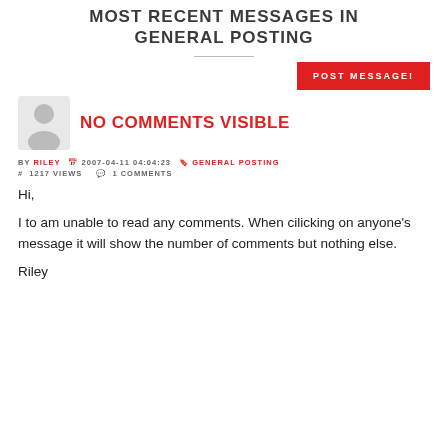MOST RECENT MESSAGES IN GENERAL POSTING
[Figure (illustration): User avatar placeholder - a generic person silhouette icon in light gray]
NO COMMENTS VISIBLE
BY RILEY   2007-04-11 04:04:23   GENERAL POSTING   # 1217 VIEWS   1 COMMENTS
Hi,

I to am unable to read any comments. When cilicking on anyone's message it will show the number of comments but nothing else.

Riley